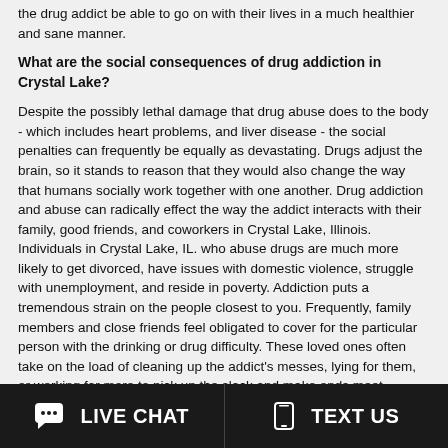the drug addict be able to go on with their lives in a much healthier and sane manner.
What are the social consequences of drug addiction in Crystal Lake?
Despite the possibly lethal damage that drug abuse does to the body - which includes heart problems, and liver disease - the social penalties can frequently be equally as devastating. Drugs adjust the brain, so it stands to reason that they would also change the way that humans socially work together with one another. Drug addiction and abuse can radically effect the way the addict interacts with their family, good friends, and coworkers in Crystal Lake, Illinois. Individuals in Crystal Lake, IL. who abuse drugs are much more likely to get divorced, have issues with domestic violence, struggle with unemployment, and reside in poverty. Addiction puts a tremendous strain on the people closest to you. Frequently, family members and close friends feel obligated to cover for the particular person with the drinking or drug difficulty. These loved ones often take on the load of cleaning up the addict's messes, lying for them, or working far more to pick up the slack and make ends meet. Pretending that absolutely nothing is wrong and hiding away all of their fears and resentments about the loved one's addiction can take a huge emotional toll. The social consequences of addiction impact the mental, financial, and psychological well-being of the whole family.
Another social consequence of addiction in Crystal Lake, IL. happens when teens who battle with addiction, withdraw from their loved ones and
LIVE CHAT   TEXT US